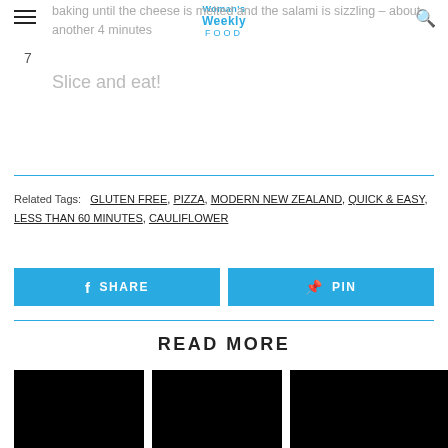Woman's Weekly FOOD
baking until the cheese is melted and the salami is sizzling – about another 4 minutes
Slice and eat!
Related Tags: GLUTEN FREE, PIZZA, MODERN NEW ZEALAND, QUICK & EASY, LESS THAN 60 MINUTES, CAULIFLOWER
SHARE
PIN
READ MORE
[Figure (photo): Black image placeholder 1]
[Figure (photo): Black image placeholder 2]
[Figure (photo): Black image placeholder 3 (partial)]